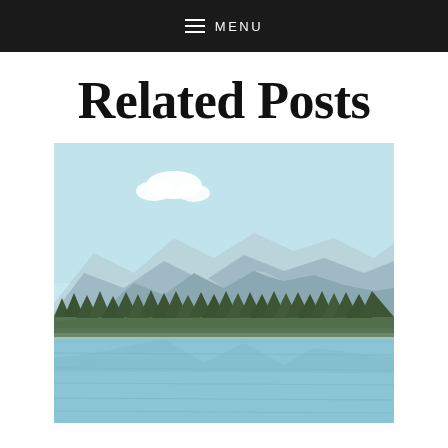MENU
Related Posts
[Figure (photo): Outdoor mountain lake landscape photo with pale blue sky, white clouds, mountain range in background, coniferous forest treeline, and calm lake water in foreground]